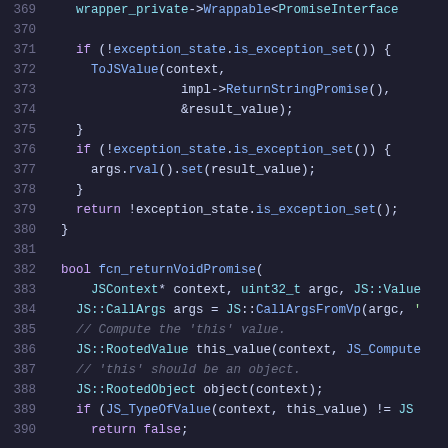[Figure (screenshot): Source code editor screenshot showing C++/JavaScript binding code, lines 369-390, with syntax highlighting on dark background. Lines include exception state checks, ToJSValue calls, bool function fcn_returnVoidPromise, JS::RootedValue, JS::RootedObject declarations.]